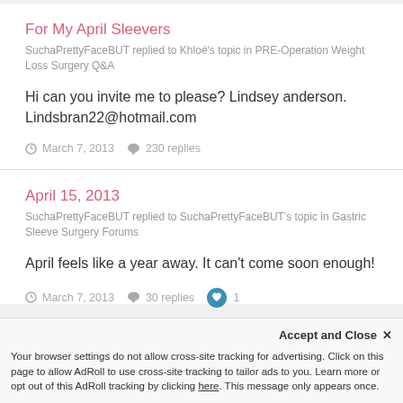For My April Sleevers
SuchaPrettyFaceBUT replied to Khloé's topic in PRE-Operation Weight Loss Surgery Q&A
Hi can you invite me to please? Lindsey anderson. Lindsbran22@hotmail.com
March 7, 2013   230 replies
April 15, 2013
SuchaPrettyFaceBUT replied to SuchaPrettyFaceBUT's topic in Gastric Sleeve Surgery Forums
April feels like a year away. It can't come soon enough!
March 7, 2013   30 replies   1
Accept and Close ×
Your browser settings do not allow cross-site tracking for advertising. Click on this page to allow AdRoll to use cross-site tracking to tailor ads to you. Learn more or opt out of this AdRoll tracking by clicking here. This message only appears once.